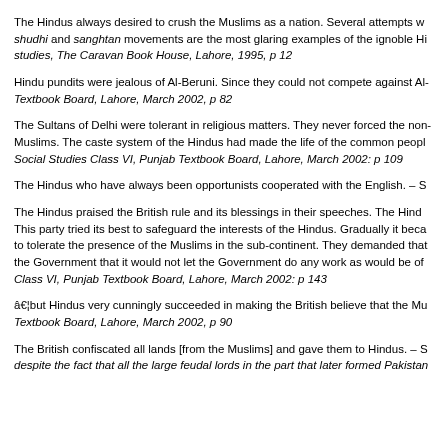The Hindus always desired to crush the Muslims as a nation. Several attempts w... shudhi and sanghtan movements are the most glaring examples of the ignoble Hi... studies, The Caravan Book House, Lahore, 1995, p 12
Hindu pundits were jealous of Al-Beruni. Since they could not compete against Al-... Textbook Board, Lahore, March 2002, p 82
The Sultans of Delhi were tolerant in religious matters. They never forced the non-Muslims. The caste system of the Hindus had made the life of the common peopl... Social Studies Class VI, Punjab Textbook Board, Lahore, March 2002: p 109
The Hindus who have always been opportunists cooperated with the English. – S...
The Hindus praised the British rule and its blessings in their speeches. The Hind... This party tried its best to safeguard the interests of the Hindus. Gradually it beca... to tolerate the presence of the Muslims in the sub-continent. They demanded that... the Government that it would not let the Government do any work as would be of... Class VI, Punjab Textbook Board, Lahore, March 2002: p 143
…but Hindus very cunningly succeeded in making the British believe that the Mu... Textbook Board, Lahore, March 2002, p 90
The British confiscated all lands [from the Muslims] and gave them to Hindus. – S... despite the fact that all the large feudal lords in the part that later formed Pakistan...